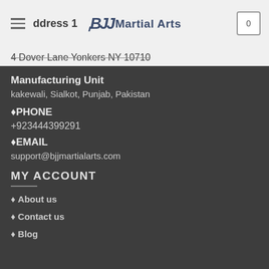BJJ Martial Arts
Address 1
4 Dover Lane Yonkers NY 10710
Manufacturing Unit
kakewali, Sialkot, Punjab, Pakistan
♦PHONE
+923444399291
♦EMAIL
support@bjjmartialarts.com
MY ACCOUNT
♦ About us
♦ Contact us
♦ Blog